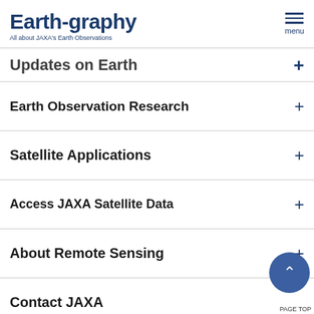Earth-graphy — All about JAXA's Earth Observations — menu
Updates on Earth
Earth Observation Research
Satellite Applications
Access JAXA Satellite Data
About Remote Sensing
Contact JAXA